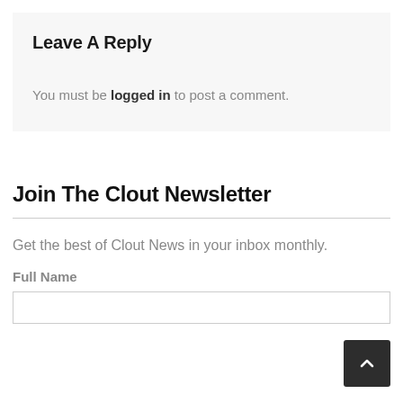Leave A Reply
You must be logged in to post a comment.
Join The Clout Newsletter
Get the best of Clout News in your inbox monthly.
Full Name